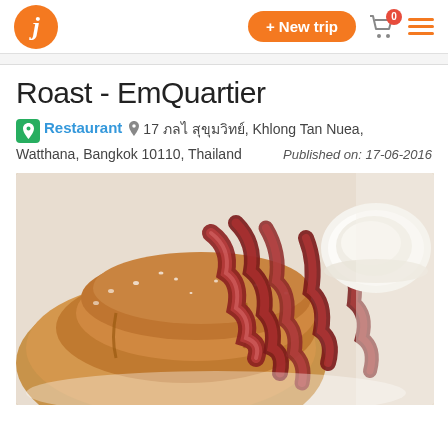Navigation bar with logo, + New trip button, cart icon (0), and hamburger menu
Roast - EmQuartier
Restaurant  17 [Thai text], Khlong Tan Nuea, Watthana, Bangkok 10110, Thailand   Published on: 17-06-2016
[Figure (photo): Close-up food photo of fluffy pancakes topped with crispy bacon strips and powdered sugar, served with a small bowl of cream on a white plate]